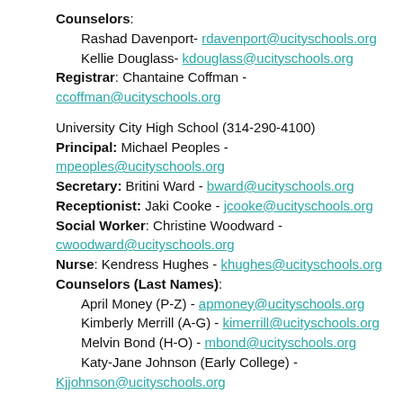Counselors: Rashad Davenport- rdavenport@ucityschools.org Kellie Douglass- kdouglass@ucityschools.org Registrar: Chantaine Coffman - ccoffman@ucityschools.org
University City High School (314-290-4100)
Principal: Michael Peoples - mpeoples@ucityschools.org
Secretary: Britini Ward - bward@ucityschools.org
Receptionist: Jaki Cooke - jcooke@ucityschools.org
Social Worker: Christine Woodward - cwoodward@ucityschools.org
Nurse: Kendress Hughes - khughes@ucityschools.org
Counselors (Last Names): April Money (P-Z) - apmoney@ucityschools.org Kimberly Merrill (A-G) - kimerrill@ucityschools.org Melvin Bond (H-O) - mbond@ucityschools.org Katy-Jane Johnson (Early College) - Kjjohnson@ucityschools.org